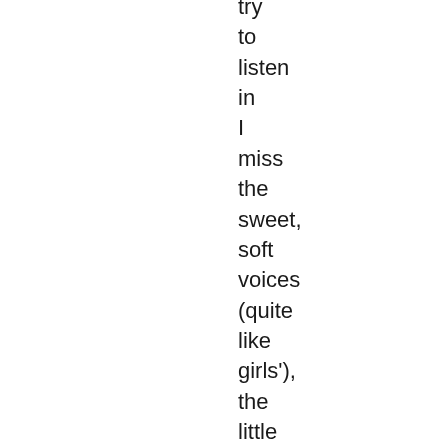try
to
listen
in
I
miss
the
sweet,
soft
voices
(quite
like
girls'),
the
little
hands
just
large
enough
to
hold
or